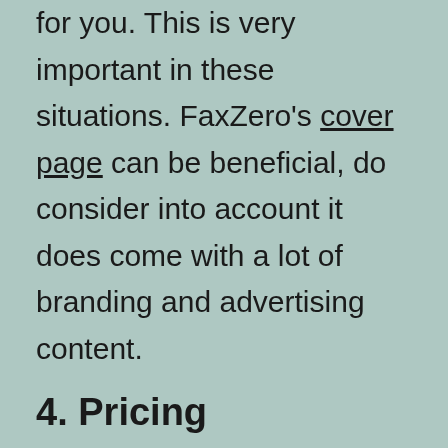for you. This is very important in these situations. FaxZero's cover page can be beneficial, do consider into account it does come with a lot of branding and advertising content.
4. Pricing
For some of us, the free fax benefits will not be enough. You may be sending a significant record that exceeds the free fax limit, or the destination you are striving to fax to is not supported in the free plan. The great thing about both these services is that they have a "pay as you go" pricing guide. That means you